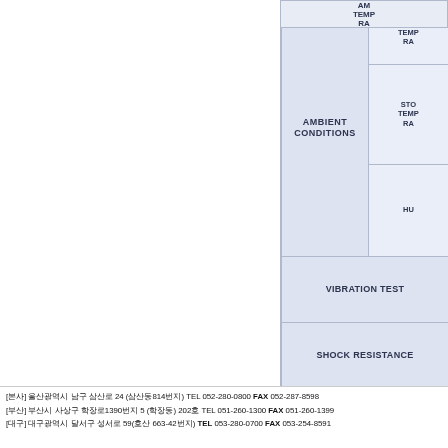|  |  |
| --- | --- |
| AMBIENT CONDITIONS | AMBIENT TEMPERATURE RANGE |
| AMBIENT CONDITIONS | STORAGE TEMPERATURE RANGE |
| AMBIENT CONDITIONS | HUMIDITY |
|  | VIBRATION TEST |
|  | SHOCK RESISTANCE |
※ 규격은 예고없이 변경될수있습니다.
[본사] 울산광역시 남구 삼산로 24 (삼산동814번지) TEL 052-280-0800 FAX 052-287-8598
[부산] 부산시 사상구 학장로1390번지 5 (학장동) 202호 TEL 051-260-1300 FAX 051-260-1399
[대구] 대구광역시 달서구 성서로 59(호산 663-42번지) TEL 053-280-0700 FAX 053-254-8591